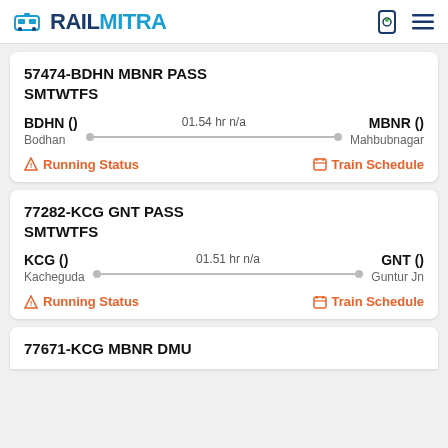RAILMITRA
57474-BDHN MBNR PASS SMTWTFS
BDHN () Bodhan — 01.54 hr n/a — MBNR () Mahbubnagar
Running Status | Train Schedule
77282-KCG GNT PASS SMTWTFS
KCG () Kacheguda — 01.51 hr n/a — GNT () Guntur Jn
Running Status | Train Schedule
77671-KCG MBNR DMU